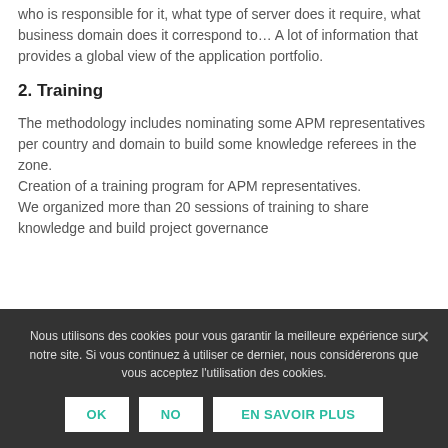who is responsible for it, what type of server does it require, what business domain does it correspond to… A lot of information that provides a global view of the application portfolio.
2. Training
The methodology includes nominating some APM representatives per country and domain to build some knowledge referees in the zone.
Creation of a training program for APM representatives.
We organized more than 20 sessions of training to share knowledge and build project governance
Nous utilisons des cookies pour vous garantir la meilleure expérience sur notre site. Si vous continuez à utiliser ce dernier, nous considérerons que vous acceptez l'utilisation des cookies.